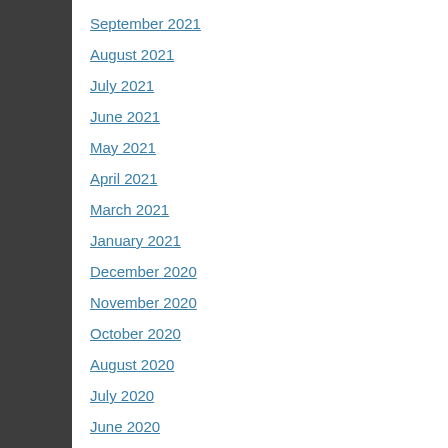September 2021
August 2021
July 2021
June 2021
May 2021
April 2021
March 2021
January 2021
December 2020
November 2020
October 2020
August 2020
July 2020
June 2020
March 2020
January 2020